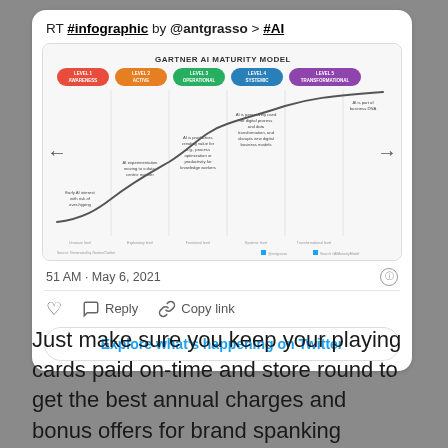RT #infographic by @antgrasso > #AI
[Figure (infographic): Gartner AI Maturity Model infographic showing 5 levels: Level 1 Awareness (red), Level 2 Active (orange), Level 3 Operational (green), Level 4 Systemic (blue), Level 5 Transformational (purple), with an S-curve line showing maturity progression and descriptive text for each level.]
51 AM · May 6, 2021
Reply   Copy link
Explore what's happening on Twitter
Just make sure you keep your playing cards paid on-time and store round to get the best annual charges and bonus offers for brand spanking